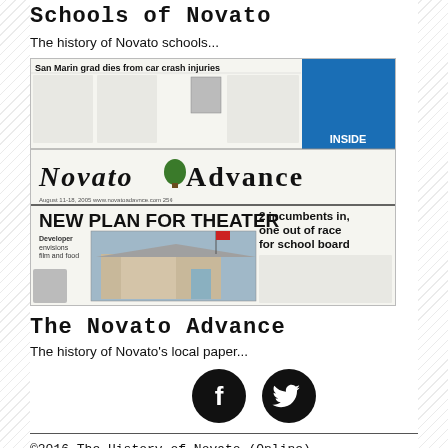Schools of Novato
The history of Novato schools...
[Figure (photo): Front page of the Novato Advance newspaper showing headline 'NEW PLAN FOR THEATER' and '2 incumbents in, one out of race for school board', with a photo of a theater building. Top headline reads 'San Marin grad dies from car crash injuries'.]
The Novato Advance
The history of Novato's local paper...
[Figure (logo): Facebook and Twitter social media icons (circular black icons)]
©2016 The History of Novato (Online)